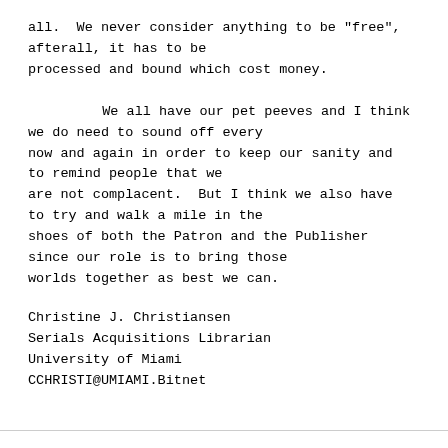all.  We never consider anything to be "free", afterall, it has to be processed and bound which cost money.

        We all have our pet peeves and I think we do need to sound off every now and again in order to keep our sanity and to remind people that we are not complacent.  But I think we also have to try and walk a mile in the shoes of both the Patron and the Publisher since our role is to bring those worlds together as best we can.
Christine J. Christiansen
Serials Acquisitions Librarian
University of Miami
CCHRISTI@UMIAMI.Bitnet